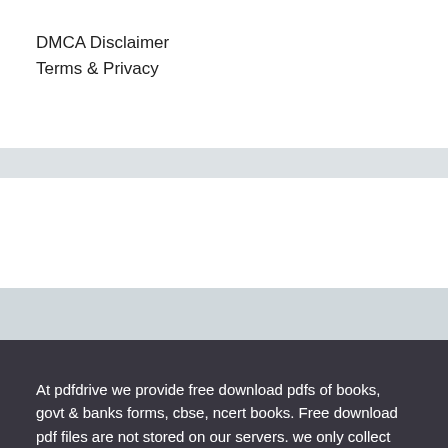DMCA Disclaimer
Terms & Privacy
At pdfdrive we provide free download pdfs of books, govt & banks forms, cbse, ncert books. Free download pdf files are not stored on our servers. we only collect book to read online for free from public internet. We have all ebooks pdf